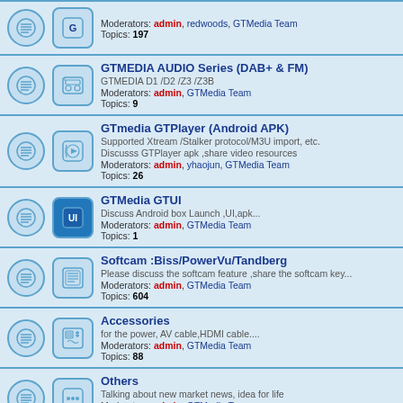Moderators: admin, redwoods, GTMedia Team
Topics: 197
GTMEDIA AUDIO Series (DAB+ & FM)
GTMEDIA D1 /D2 /Z3 /Z3B
Moderators: admin, GTMedia Team
Topics: 9
GTmedia GTPlayer (Android APK)
Supported Xtream /Stalker protocol/M3U import, etc.
Discusss GTPlayer apk ,share video resources
Moderators: admin, yhaojun, GTMedia Team
Topics: 26
GTMedia GTUI
Discuss Android box Launch ,UI,apk...
Moderators: admin, GTMedia Team
Topics: 1
Softcam :Biss/PowerVu/Tandberg
Please discuss the softcam feature ,share the softcam key...
Moderators: admin, GTMedia Team
Topics: 604
Accessories
for the power, AV cable,HDMI cable....
Moderators: admin, GTMedia Team
Topics: 88
Others
Talking about new market news, idea for life
Moderators: admin, GTMedia Team
Topics: 373